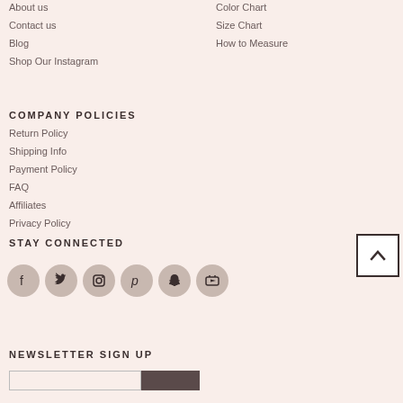About us
Contact us
Blog
Shop Our Instagram
Color Chart
Size Chart
How to Measure
COMPANY POLICIES
Return Policy
Shipping Info
Payment Policy
FAQ
Affiliates
Privacy Policy
STAY CONNECTED
[Figure (infographic): Row of 6 social media icons: Facebook, Twitter, Instagram, Pinterest, Snapchat, YouTube — each in a circular grey button]
NEWSLETTER SIGN UP
[Figure (other): Newsletter sign up input field and submit button]